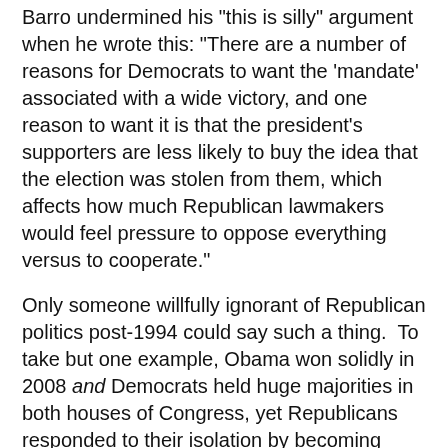Barro undermined his "this is silly" argument when he wrote this: "There are a number of reasons for Democrats to want the 'mandate' associated with a wide victory, and one reason to want it is that the president's supporters are less likely to buy the idea that the election was stolen from them, which affects how much Republican lawmakers would feel pressure to oppose everything versus to cooperate."
Only someone willfully ignorant of Republican politics post-1994 could say such a thing. To take but one example, Obama won solidly in 2008 and Democrats held huge majorities in both houses of Congress, yet Republicans responded to their isolation by becoming even more obstructive. Mandate, schmandate. Why would anyone think that, say, Chuck Grassley is going to stand up for decency simply because Democrats seem to have won "big"?
Where does all of this pessimism take us? It is difficult to see how this does not end in a constitutional and political crisis. Tumulty quotes Laurence Tribe: "If he plans to stage his own coup, I'd count on the judiciary, the military, and, ultimately, a popular uprising to stop him. But, thankfully, America's